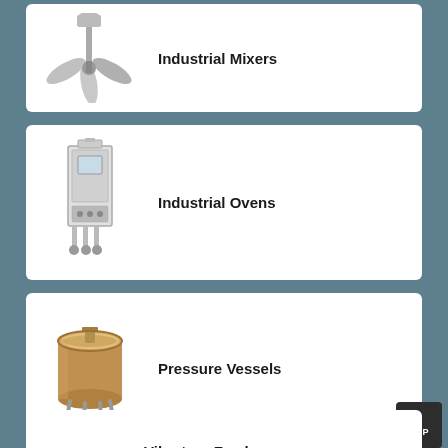[Figure (illustration): Industrial mixer with propeller blades on a shaft]
Industrial Mixers
[Figure (illustration): Industrial oven cabinet on a wheeled stand]
Industrial Ovens
[Figure (illustration): Pressure vessel tank on four legs]
Pressure Vessels
[Figure (illustration): Pulverizer machine with multiple green components in a circular gray background]
Pulverizers
Vibratory Feeders